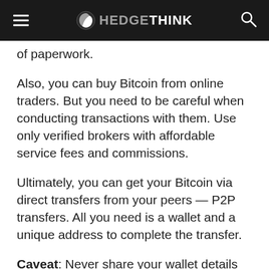HEDGETHINK
of paperwork.
Also, you can buy Bitcoin from online traders. But you need to be careful when conducting transactions with them. Use only verified brokers with affordable service fees and commissions.
Ultimately, you can get your Bitcoin via direct transfers from your peers — P2P transfers. All you need is a wallet and a unique address to complete the transfer.
Caveat: Never share your wallet details with anybody!